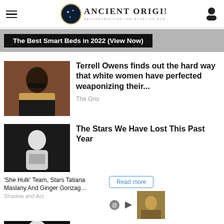Ancient Origins — Reconstructing the story of humanity's past
[Figure (screenshot): Advertisement banner: 'The Best Smart Beds in 2022 (View Now)']
[Figure (photo): Photo of Terrell Owens in sunglasses and gold jacket]
Terrell Owens finds out the hard way that white women have perfected weaponizing their...
The Grio
[Figure (photo): Black and white photo of a female performer]
The Stars We Have Lost This Past Year
'She Hulk' Team, Stars Tatiana Maslany And Ginger Gonzag…
Shadow and Act
[Figure (photo): Small advertisement image showing a person outdoors]
[Figure (photo): Lower portion of black and white photo]